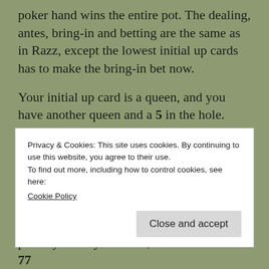poker hand wins the entire pot. The dealing, antes, bring-in and betting are the same as in Razz, except the lowest initial up cards has to make the bring-in bet now.
Your initial up card is a queen, and you have another queen and a 5 in the hole. Your fifth card is another 5 giving you a well-disguised two pair. You think you have the best hand and raise, getting called by a nice lady who’s highest up card is a jack. She calls you again after the sixth card
Privacy & Cookies: This site uses cookies. By continuing to use this website, you agree to their use.
To find out more, including how to control cookies, see here:
Cookie Policy
Close and accept
proudly show your hand, she turns over JJ–77